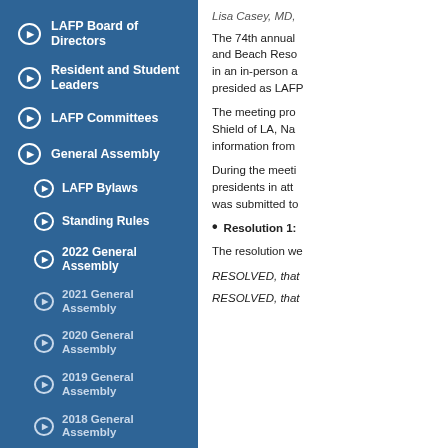LAFP Board of Directors
Resident and Student Leaders
LAFP Committees
General Assembly
LAFP Bylaws
Standing Rules
2022 General Assembly
2021 General Assembly
2020 General Assembly
2019 General Assembly
2018 General Assembly
2017 General Assembly
2016 General Assembly
Lisa Casey, MD,
The 74th annual and Beach Reso in an in-person a presided as LAFP
The meeting pro Shield of LA, Na information from
During the meeti presidents in att was submitted to
Resolution 1:
The resolution we
RESOLVED, that
RESOLVED, that